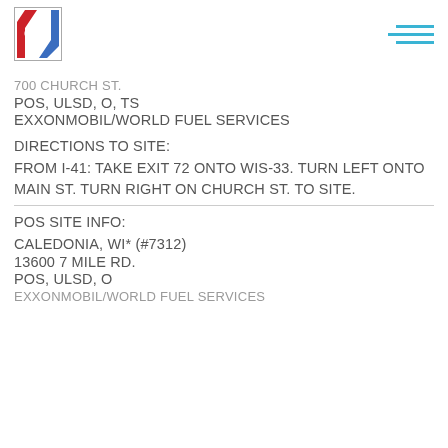CFN logo and navigation menu
700 CHURCH ST.
POS, ULSD, O, TS
EXXONMOBIL/WORLD FUEL SERVICES
DIRECTIONS TO SITE:
FROM I-41: TAKE EXIT 72 ONTO WIS-33. TURN LEFT ONTO MAIN ST. TURN RIGHT ON CHURCH ST. TO SITE.
POS SITE INFO:
CALEDONIA, WI* (#7312)
13600 7 MILE RD.
POS, ULSD, O
EXXONMOBIL/WORLD FUEL SERVICES